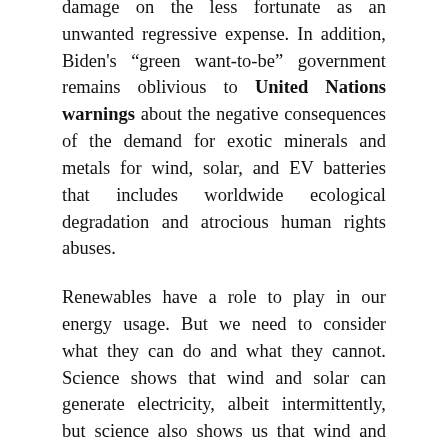damage on the less fortunate as an unwanted regressive expense. In addition, Biden's "green want-to-be" government remains oblivious to United Nations warnings about the negative consequences of the demand for exotic minerals and metals for wind, solar, and EV batteries that includes worldwide ecological degradation and atrocious human rights abuses.
Renewables have a role to play in our energy usage. But we need to consider what they can do and what they cannot. Science shows that wind and solar can generate electricity, albeit intermittently, but science also shows us that wind and solar CANNOT manufacture the oil derivatives that are the basis of thousands of products we now take for granted.
Depriving its citizens of the more than 6,000 products that were non-existent before 1900, made from the oil derivatives manufactured from crude oil, as President Biden